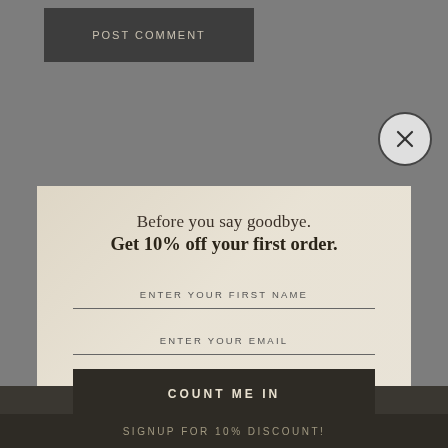[Figure (screenshot): POST COMMENT button with dark background and beige text]
[Figure (screenshot): Close X circular button overlay in upper right]
[Figure (screenshot): Pop-up modal overlay with decorative background showing jewelry/rings. Contains promotional text, two input fields, and a submit button.]
Before you say goodbye.
Get 10% off your first order.
ENTER YOUR FIRST NAME
ENTER YOUR EMAIL
COUNT ME IN
SIGNUP FOR 10% DISCOUNT!